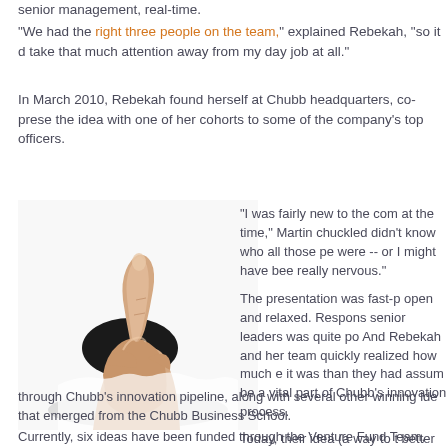senior management, real-time.
"We had the right three people on the team," explained Rebekah, "so it d take that much attention away from my day job at all."
In March 2010, Rebekah found herself at Chubb headquarters, co-prese the idea with one of her cohorts to some of the company's top officers.
[Figure (photo): A hand with thumb up breaking through paper, on a white background.]
"I was fairly new to the com at the time," Martin chuckled didn't know who all those pe were -- or I might have bee really nervous."
The presentation was fast-p open and relaxed. Respons senior leaders was quite po And Rebekah and her team quickly realized how much e it was than they had assum be a vital part of Chubb's innovation process.
Today, their idea (a way to t better advantage of face-to- interactions with specific customers) is funded and m through Chubb's innovation pipeline, along with several other winning ide that emerged from the Chubb Business School.
Currently, six ideas have been funded through the Venture Fund Team,